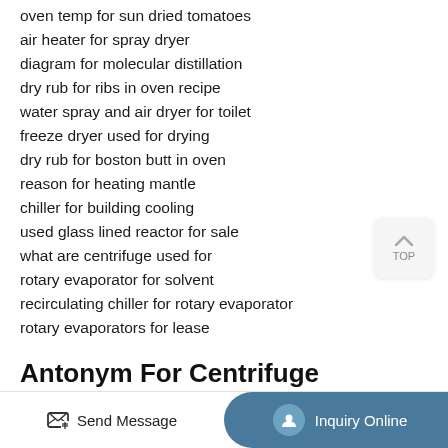oven temp for sun dried tomatoes
air heater for spray dryer
diagram for molecular distillation
dry rub for ribs in oven recipe
water spray and air dryer for toilet
freeze dryer used for drying
dry rub for boston butt in oven
reason for heating mantle
chiller for building cooling
used glass lined reactor for sale
what are centrifuge used for
rotary evaporator for solvent
recirculating chiller for rotary evaporator
rotary evaporators for lease
Antonym For Centrifuge
Send Message | Inquiry Online